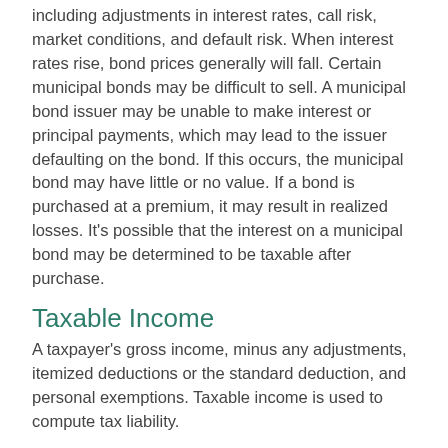including adjustments in interest rates, call risk, market conditions, and default risk. When interest rates rise, bond prices generally will fall. Certain municipal bonds may be difficult to sell. A municipal bond issuer may be unable to make interest or principal payments, which may lead to the issuer defaulting on the bond. If this occurs, the municipal bond may have little or no value. If a bond is purchased at a premium, it may result in realized losses. It's possible that the interest on a municipal bond may be determined to be taxable after purchase.
Taxable Income
A taxpayer's gross income, minus any adjustments, itemized deductions or the standard deduction, and personal exemptions. Taxable income is used to compute tax liability.
Technical Analysis
A method of evaluating securities by examining recent price movements and trends in an attempt to identify